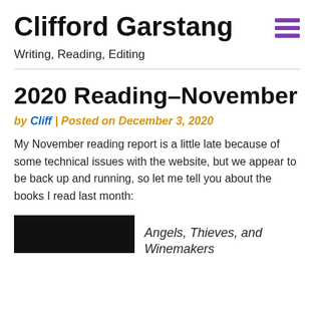Clifford Garstang
Writing, Reading, Editing
2020 Reading–November
by Cliff | Posted on December 3, 2020
My November reading report is a little late because of some technical issues with the website, but we appear to be back up and running, so let me tell you about the books I read last month:
[Figure (photo): Black rectangle representing a book cover image]
Angels, Thieves, and Winemakers